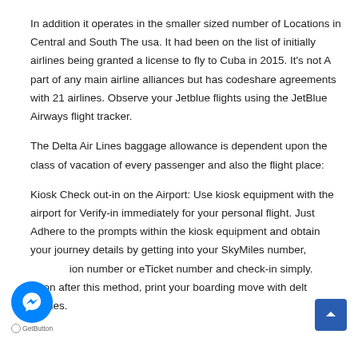In addition it operates in the smaller sized number of Locations in Central and South The usa. It had been on the list of initially airlines being granted a license to fly to Cuba in 2015. It's not A part of any main airline alliances but has codeshare agreements with 21 airlines. Observe your Jetblue flights using the JetBlue Airways flight tracker.
The Delta Air Lines baggage allowance is dependent upon the class of vacation of every passenger and also the flight place:
Kiosk Check out-in on the Airport: Use kiosk equipment with the airport for Verify-in immediately for your personal flight. Just Adhere to the prompts within the kiosk equipment and obtain your journey details by getting into your SkyMiles number, confirmation number or eTicket number and check-in simply. Soon after this method, print your boarding move with delta airlines.